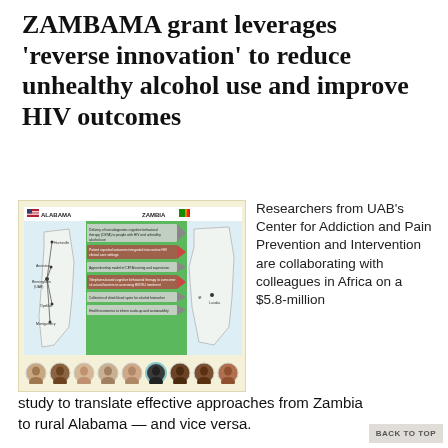ZAMBAMA grant leverages 'reverse innovation' to reduce unhealthy alcohol use and improve HIV outcomes
[Figure (infographic): Diagram showing ALABAMA and ZAMBIA collaboration with arrows indicating research methods: Delivery of transdiagnostic cognitive behavioral therapy (CETA) to people with HIV and unhealthy alcohol use; Patient reported outcomes integrated into routine HIV clinical care settings; Apprenticeship model of CETA training and supervision; Telephone-based cognitive behavioral therapy to overcome structural barriers to accessing HIV/SU treatment; Collection of dried blood spots for alcohol biomarker; Health economics to inform scale-up and sustainability. Below the diagram are 9 circular headshot photos of researchers.]
Researchers from UAB's Center for Addiction and Pain Prevention and Intervention are collaborating with colleagues in Africa on a $5.8-million study to translate effective approaches from Zambia to rural Alabama — and vice versa.
BACK TO TOP